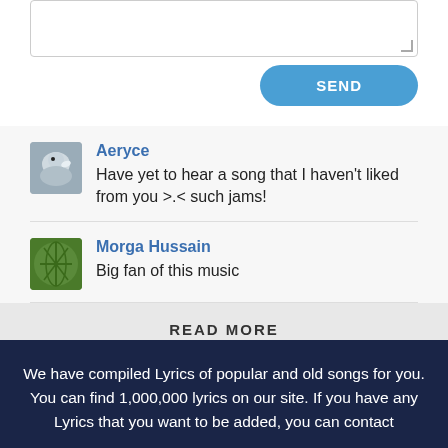[Figure (screenshot): White text input textarea with resize handle in bottom-right corner]
[Figure (screenshot): Blue rounded SEND button]
Aeryce
Have yet to hear a song that I haven't liked from you >.< such jams!
Morga Hussain
Big fan of this music
READ MORE
We have compiled Lyrics of popular and old songs for you. You can find 1,000,000 lyrics on our site. If you have any Lyrics that you want to be added, you can contact